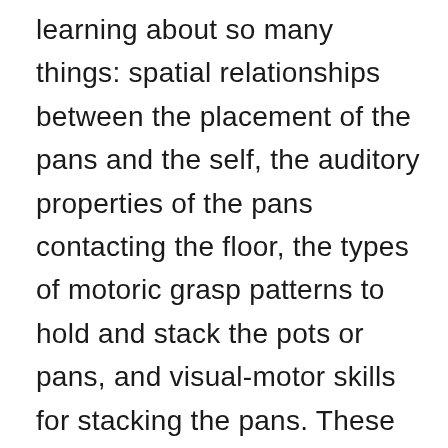learning about so many things: spatial relationships between the placement of the pans and the self, the auditory properties of the pans contacting the floor, the types of motoric grasp patterns to hold and stack the pots or pans, and visual-motor skills for stacking the pans. These are important foundational skills for later academic abilities in math and reading.  It's also why so much close supervision is needed at this age because you never know what the child will do with